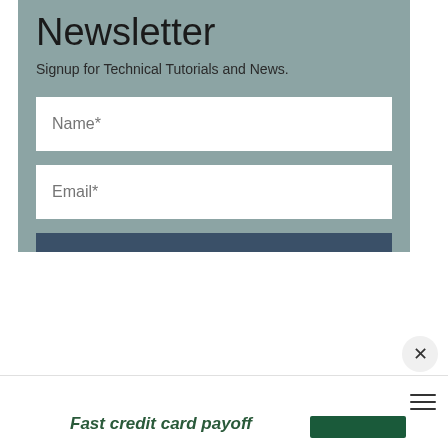Newsletter
Signup for Technical Tutorials and News.
[Figure (screenshot): Newsletter signup form with Name and Email input fields and a Subscribe button on a slate-green background]
Fast credit card payoff
[Figure (other): Dark green rounded rectangle button]